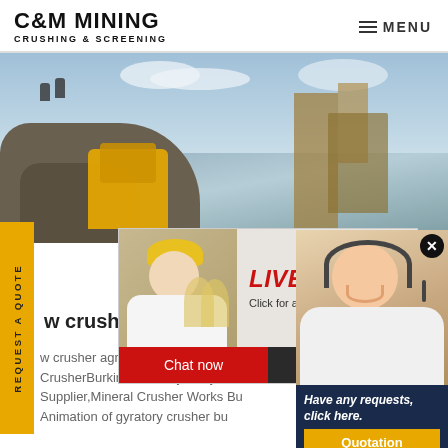C&M MINING CRUSHING & SCREENING | MENU
[Figure (photo): Mining site with heavy machinery, yellow crushers, industrial towers, and rocky terrain against a blue sky with clouds.]
[Figure (screenshot): Live chat popup with workers in yellow hard hats. Title: LIVE CHAT. Subtitle: Click for a Free Consultation. Buttons: Chat now (red), Chat later (dark).]
[Figure (photo): Customer service representative with headset smiling. Dark navy panel below with text: Have any requests, click here. Quotation button.]
w crusher agroindustrial in b
w crusher agroindustrial in burki CrusherBurkina Faso Gyratory Cru Supplier,Mineral Crusher Works Bu Animation of gyratory crusher bu